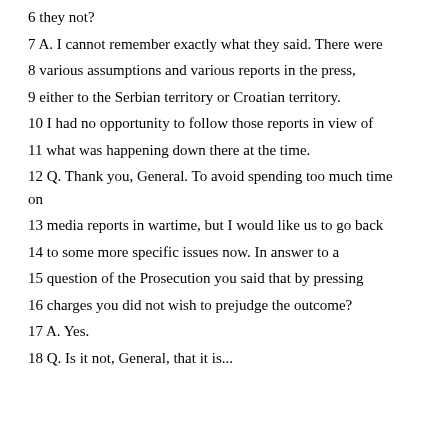6 they not?
7 A. I cannot remember exactly what they said. There were
8 various assumptions and various reports in the press,
9 either to the Serbian territory or Croatian territory.
10 I had no opportunity to follow those reports in view of
11 what was happening down there at the time.
12 Q. Thank you, General. To avoid spending too much time on
13 media reports in wartime, but I would like us to go back
14 to some more specific issues now. In answer to a
15 question of the Prosecution you said that by pressing
16 charges you did not wish to prejudge the outcome?
17 A. Yes.
18 Q. Is it not, General, that it is...